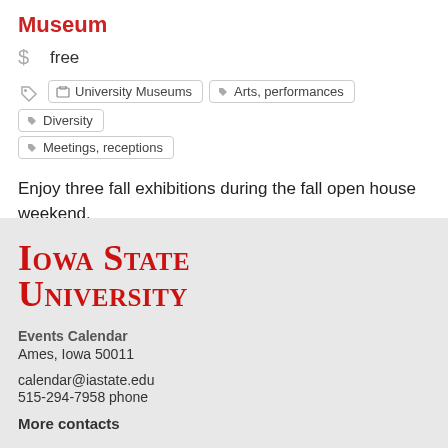Museum
$ free
University Museums  Arts, performances  Diversity  Meetings, receptions
Enjoy three fall exhibitions during the fall open house weekend.
[Figure (logo): Iowa State University logo in red serif font]
Events Calendar
Ames, Iowa 50011
calendar@iastate.edu
515-294-7958 phone
More contacts